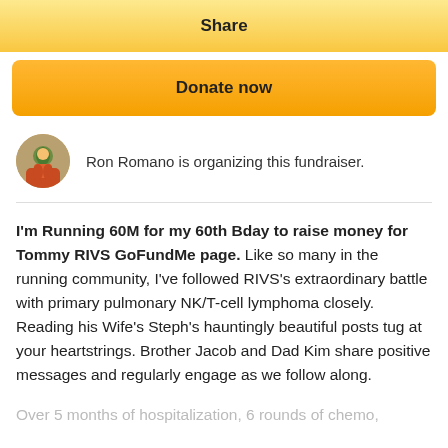Share
Donate now
Ron Romano is organizing this fundraiser.
I'm Running 60M for my 60th Bday to raise money for Tommy RIVS GoFundMe page. Like so many in the running community, I've followed RIVS's extraordinary battle with primary pulmonary NK/T-cell lymphoma closely. Reading his Wife's Steph's hauntingly beautiful posts tug at your heartstrings. Brother Jacob and Dad Kim share positive messages and regularly engage as we follow along.
Over 5 months of hospitalization, 6 rounds of chemo,